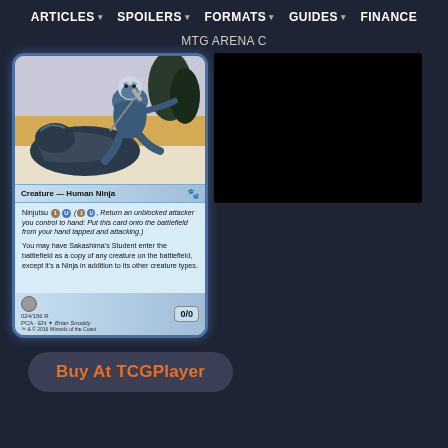ARTICLES  SPOILERS  FORMATS  GUIDES  FINANCE
MTG ARENA C
[Figure (illustration): Magic: The Gathering card - Sakashima's Student. A Human Ninja creature card with Ninjutsu ability. Art shows a ninja in blue robes riding or leaping over a dragon-like creature. Card text: Ninjutsu 1U (1U, Return an unblocked attacker you control to hand: Put this card onto the battlefield from your hand tapped and attacking.) You may have Sakashima's Student enter the battlefield as a copy of any creature on the battlefield, except it's a Ninja in addition to its other creature types. 0/0. 024/156 R PCA EN - Brian Snoddy]
[Figure (other): Black rectangle overlay covering part of the right side of the page]
Buy At TCGPlayer